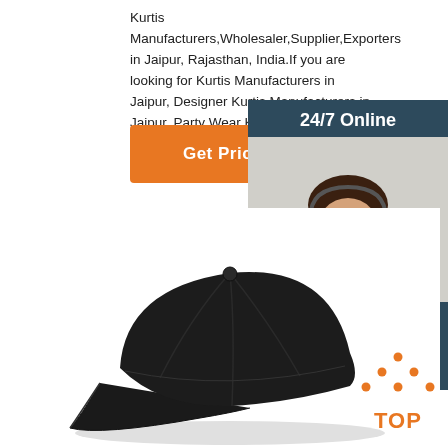Kurtis Manufacturers,Wholesaler,Supplier,Exporters in Jaipur, Rajasthan, India.If you are looking for Kurtis Manufacturers in Jaipur, Designer Kurtis Manufacturers in Jaipur, Party Wear Kurtis Manufacturers In Jaipur,Feel free to call us on +91-9057710001,6
[Figure (other): Orange 'Get Price' button]
[Figure (other): Sidebar with 24/7 Online label, customer service representative photo, 'Click here for free chat!' text, and orange QUOTATION button]
[Figure (photo): Black baseball cap product photo on white background]
[Figure (other): Orange TOP badge with dots above]